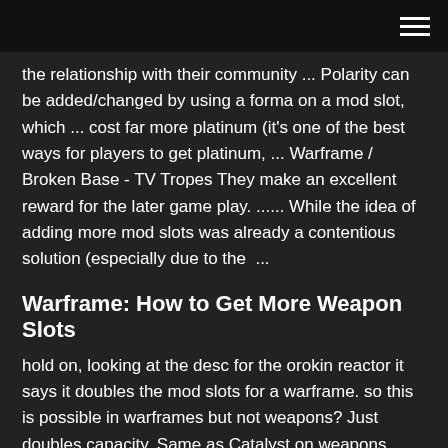the relationship with their community ... Polarity can be added/changed by using a forma on a mod slot, which ... cost far more platinum (it's one of the best ways for players to get platinum, ... Warframe / Broken Base - TV Tropes They make an excellent reward for the later game play. ...... While the idea of adding more mod slots was already a contentious solution (especially due to the  ...
Warframe: How to Get More Weapon Slots
hold on, looking at the desc for the orokin reactor it says it doubles the mod slots for a warframe. so this is possible in warframes but not weapons? Just doubles capacity. Same as Catalyst on weapons. How To Get More Mod Slots Warframe - slottopwincasino.loan How To Get More Mod